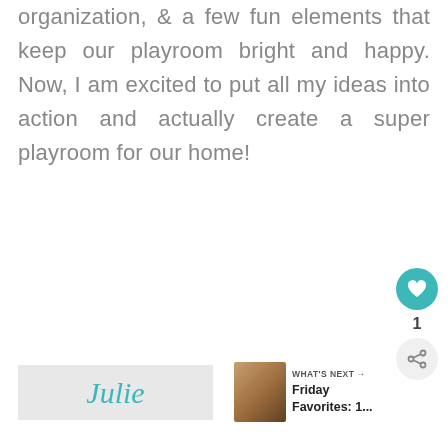organization, & a few fun elements that keep our playroom bright and happy. Now, I am excited to put all my ideas into action and actually create a super playroom for our home!
[Figure (illustration): Signature reading 'Julie' in teal cursive script on a light gray background box]
[Figure (screenshot): What's Next panel showing a thumbnail image and text 'Friday Favorites: 1...']